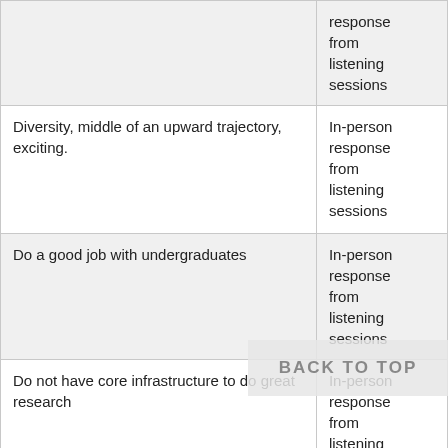|  |  |
| --- | --- |
|  | In-person response from listening sessions |
| Diversity, middle of an upward trajectory, exciting. | In-person response from listening sessions |
| Do a good job with undergraduates | In-person response from listening sessions |
| Do not have core infrastructure to do great research | In-person response from listening sessions |
| Do they feel like "Yeah I'm a Blazer" all the | In-person |